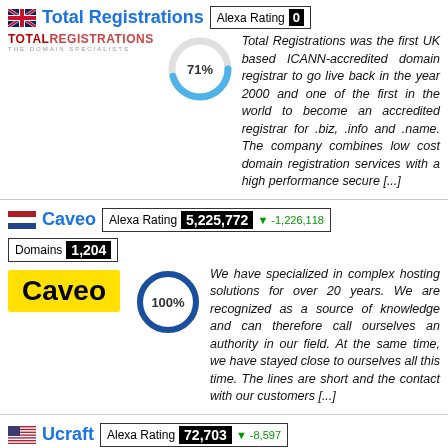Total Registrations — Alexa Rating 0
[Figure (donut-chart): Total Registrations score]
Total Registrations was the first UK based ICANN-accredited domain registrar to go live back in the year 2000 and one of the first in the world to become an accredited registrar for .biz, .info and .name. The company combines low cost domain registration services with a high performance secure [...]
Caveo — Alexa Rating 5,225,772 ▼ -1,226,118 — Domains 1,204
[Figure (donut-chart): Caveo score]
We have specialized in complex hosting solutions for over 20 years. We are recognized as a source of knowledge and can therefore call ourselves an authority in our field. At the same time, we have stayed close to ourselves all this time. The lines are short and the contact with our customers [...]
Ucraft — Alexa Rating 72,703 ▼ -8,597
[Figure (donut-chart): Ucraft score]
ucraft.com is a simple drag and drop website builder. We've perfected website building so you can create your own [...]